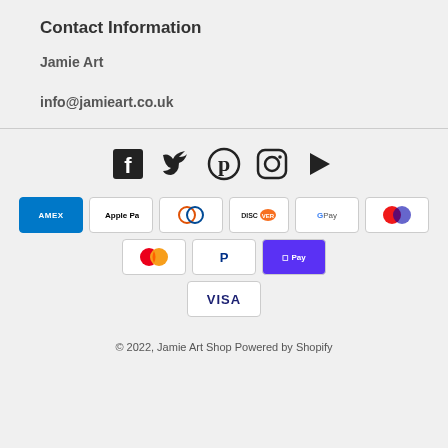Contact Information
Jamie Art
info@jamieart.co.uk
[Figure (infographic): Social media icons: Facebook, Twitter, Pinterest, Instagram, YouTube]
[Figure (infographic): Payment method icons: American Express, Apple Pay, Diners Club, Discover, Google Pay, Maestro, Mastercard, PayPal, Shop Pay, Visa]
© 2022, Jamie Art Shop Powered by Shopify